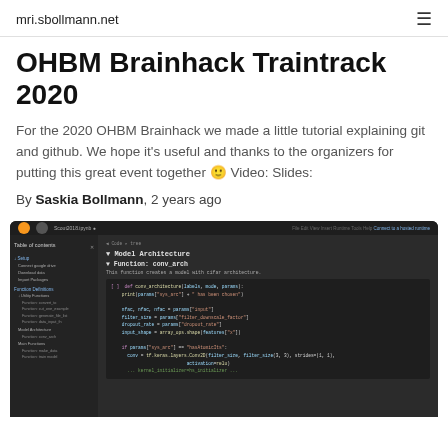mri.sbollmann.net
OHBM Brainhack Traintrack 2020
For the 2020 OHBM Brainhack we made a little tutorial explaining git and github. We hope it's useful and thanks to the organizers for putting this great event together 🙂 Video: Slides:
By Saskia Bollmann, 2 years ago
[Figure (screenshot): Screenshot of a code editor (likely Google Colab or Jupyter) showing a dark-themed interface with a table of contents sidebar on the left listing sections like Setup, Function Definitions, Utility Functions, Model Architecture, Main Functions, and a main panel showing 'Model Architecture' and 'Function: conv_arch' sections with Python code defining a neural network architecture.]